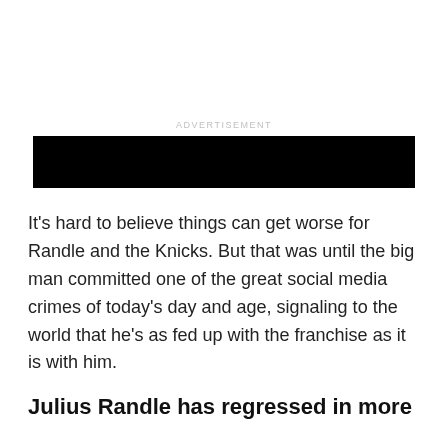ADVERTISEMENT
[Figure (other): Black advertisement banner block]
It's hard to believe things can get worse for Randle and the Knicks. But that was until the big man committed one of the great social media crimes of today's day and age, signaling to the world that he's as fed up with the franchise as it is with him.
Julius Randle has regressed in more